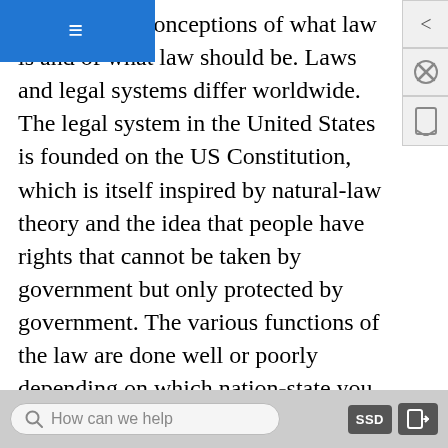≡ (navigation menu)
are differing conceptions of what law is and of what law should be. Laws and legal systems differ worldwide. The legal system in the United States is founded on the US Constitution, which is itself inspired by natural-law theory and the idea that people have rights that cannot be taken by government but only protected by government. The various functions of the law are done well or poorly depending on which nation-state you look at. Some do very well in terms of keeping order, while others do a better job of allowing civil and political freedoms. Social and political movements within each nation greatly affect the nature and quality of the legal system within that nation.
This chapter has familiarized you with a few of the
How can we help   SSD